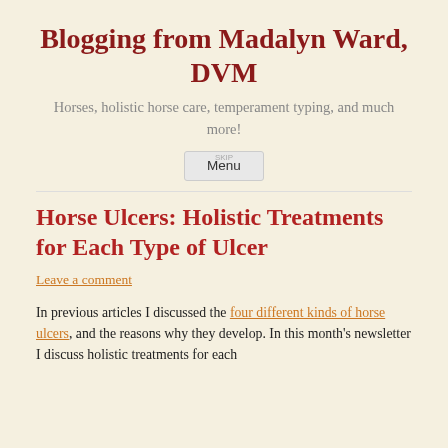Blogging from Madalyn Ward, DVM
Horses, holistic horse care, temperament typing, and much more!
Menu
Horse Ulcers: Holistic Treatments for Each Type of Ulcer
Leave a comment
In previous articles I discussed the four different kinds of horse ulcers, and the reasons why they develop. In this month's newsletter I discuss holistic treatments for each